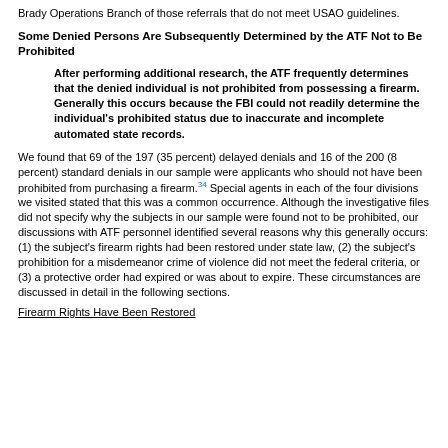Brady Operations Branch of those referrals that do not meet USAO guidelines.
Some Denied Persons Are Subsequently Determined by the ATF Not to Be Prohibited
After performing additional research, the ATF frequently determines that the denied individual is not prohibited from possessing a firearm. Generally this occurs because the FBI could not readily determine the individual's prohibited status due to inaccurate and incomplete automated state records.
We found that 69 of the 197 (35 percent) delayed denials and 16 of the 200 (8 percent) standard denials in our sample were applicants who should not have been prohibited from purchasing a firearm.34 Special agents in each of the four divisions we visited stated that this was a common occurrence. Although the investigative files did not specify why the subjects in our sample were found not to be prohibited, our discussions with ATF personnel identified several reasons why this generally occurs: (1) the subject's firearm rights had been restored under state law, (2) the subject's prohibition for a misdemeanor crime of violence did not meet the federal criteria, or (3) a protective order had expired or was about to expire. These circumstances are discussed in detail in the following sections.
Firearm Rights Have Been Restored